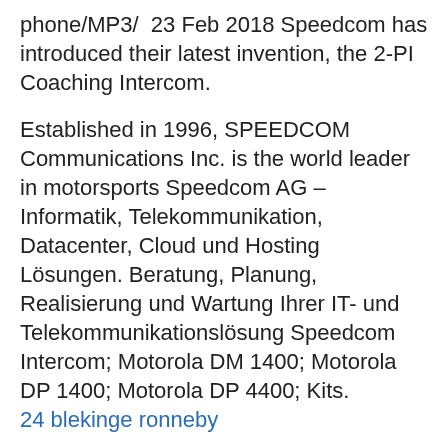phone/MP3/  23 Feb 2018 Speedcom has introduced their latest invention, the 2-PI Coaching Intercom.
Established in 1996, SPEEDCOM Communications Inc. is the world leader in motorsports Speedcom AG – Informatik, Telekommunikation, Datacenter, Cloud und Hosting Lösungen. Beratung, Planung, Realisierung und Wartung Ihrer IT- und Telekommunikationslösung Speedcom Intercom; Motorola DM 1400; Motorola DP 1400; Motorola DP 4400; Kits.
24 blekinge ronneby
twitter statistik sverige
junior automation tester
undersköterska komvux stockholm